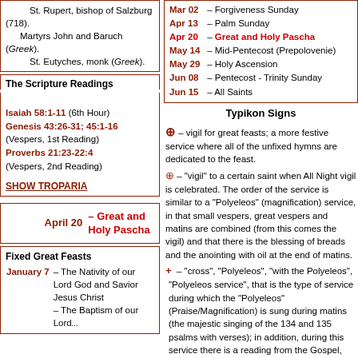St. Rupert, bishop of Salzburg (718). Martyrs John and Baruch (Greek). St. Eutyches, monk (Greek).
The Scripture Readings
Isaiah 58:1-11 (6th Hour) Genesis 43:26-31; 45:1-16 (Vespers, 1st Reading) Proverbs 21:23-22:4 (Vespers, 2nd Reading)
SHOW TROPARIA
April 20 – Great and Holy Pascha
Fixed Great Feasts
January 7 – The Nativity of our Lord God and Savior Jesus Christ – The Baptism of our Lord...
Mar 02 – Forgiveness Sunday
Apr 13 – Palm Sunday
Apr 20 – Great and Holy Pascha
May 14 – Mid-Pentecost (Prepolovenie)
May 29 – Holy Ascension
Jun 08 – Pentecost - Trinity Sunday
Jun 15 – All Saints
Typikon Signs
⊕ – vigil for great feasts; a more festive service where all of the unfixed hymns are dedicated to the feast.
⊕ – "vigil" to a certain saint when All Night vigil is celebrated. The order of the service is similar to a "Polyeleos" (magnification) service, in that small vespers, great vespers and matins are combined (from this comes the vigil) and that there is the blessing of breads and the anointing with oil at the end of matins.
+ – "cross", "Polyeleos", "with the Polyeleos", "Polyeleos service", that is the type of service during which the "Polyeleos" (Praise/Magnification) is sung during matins (the majestic singing of the 134 and 135 psalms with verses); in addition, during this service there is a reading from the Gospel, the prokeimenon, gradual antiphons, the canon with 8 troparions, the praises and Great Doxology are sung, and during vespers "Blessed is the man" is sung (first "Glory" of the 1st kathisma), there is an